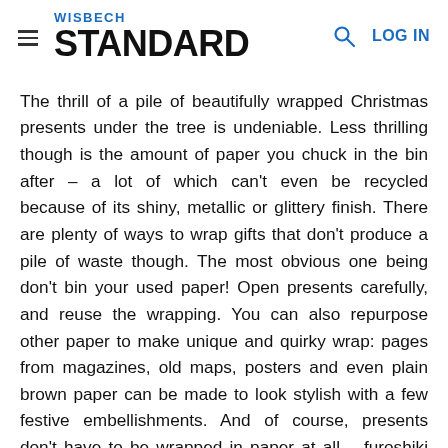WISBECH STANDARD
The thrill of a pile of beautifully wrapped Christmas presents under the tree is undeniable. Less thrilling though is the amount of paper you chuck in the bin after – a lot of which can't even be recycled because of its shiny, metallic or glittery finish. There are plenty of ways to wrap gifts that don't produce a pile of waste though. The most obvious one being don't bin your used paper! Open presents carefully, and reuse the wrapping. You can also repurpose other paper to make unique and quirky wrap: pages from magazines, old maps, posters and even plain brown paper can be made to look stylish with a few festive embellishments. And of course, presents don't have to be wrapped in paper at all – furoshiki is the Japanese art of using fabric to package presents, and is a beautiful, waste-free way to dress your gifts.